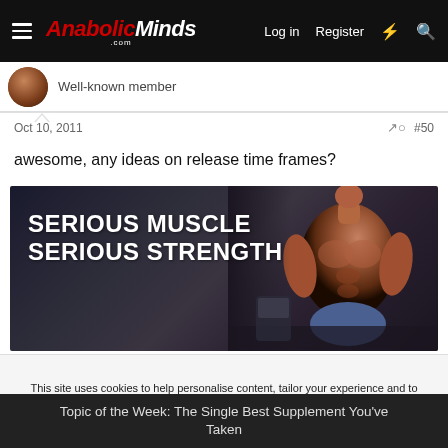AnabolicMinds.com — Log in | Register
Well-known member
Oct 10, 2011  #50
awesome, any ideas on release time frames?
[Figure (illustration): Advertisement banner with dark gym background and muscular male figure. Text reads: SERIOUS MUSCLE SERIOUS STRENGTH]
This site uses cookies to help personalise content, tailor your experience and to keep you logged in if you register.
By continuing to use this site, you are consenting to our use of cookies.
✓ Accept   Learn more...
Topic of the Week: The Single Best Supplement You've Taken